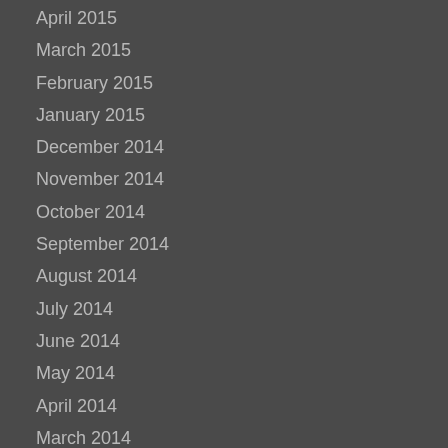April 2015
March 2015
February 2015
January 2015
December 2014
November 2014
October 2014
September 2014
August 2014
July 2014
June 2014
May 2014
April 2014
March 2014
February 2014
January 2014
December 2013